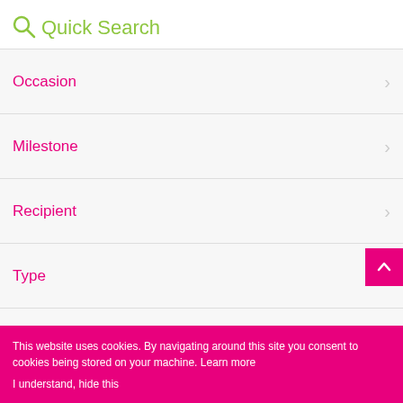Quick Search
Occasion
Milestone
Recipient
Type
Range
Style
This website uses cookies. By navigating around this site you consent to cookies being stored on your machine. Learn more
I understand, hide this